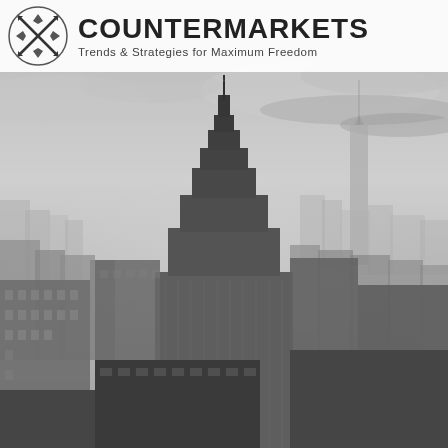[Figure (photo): Black and white aerial photograph of New York City skyline featuring the Empire State Building prominently in the center foreground, with One World Trade Center visible in the background right, and extensive urban cityscape spreading in all directions under a dramatic cloudy sky.]
COUNTERMARKETS
Trends & Strategies for Maximum Freedom